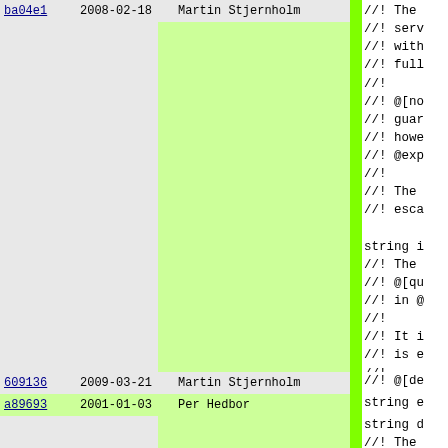ba04e1 2008-02-18 Martin Stjernholm [top row, partially visible]
//! The
//! serv
//! with
//! full
//!
//! @[no
//! guar
//! howe
//! @exp
//!
//! The
//! esca
string i
//! The
//! @[qu
//! in @
//!
//! It i
//! is e
//!
//! @see
609136 2009-03-21 Martin Stjernholm
//! @[de
a89693 2001-01-03 Per Hedbor
string e
string d
//! The